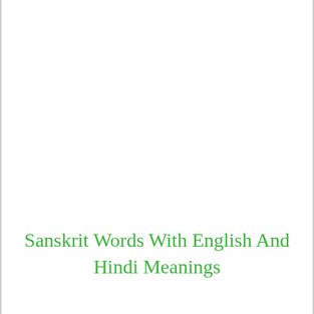Sanskrit Words With English And Hindi Meanings